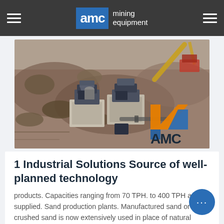AMC mining equipment
[Figure (photo): Aerial/overhead view of AMC mining equipment installed at a construction or mining site, with concrete bases, metal machinery components, and the AMC logo (orange chevron with blue) visible in the lower right corner.]
1 Industrial Solutions Source of well-planned technology
products. Capacities ranging from 70 TPH. to 400 TPH are supplied. Sand production plants. Manufactured sand or crushed sand is now extensively used in place of natural sand, in all cement, concrete, and asphalt mixers. Our Vertical